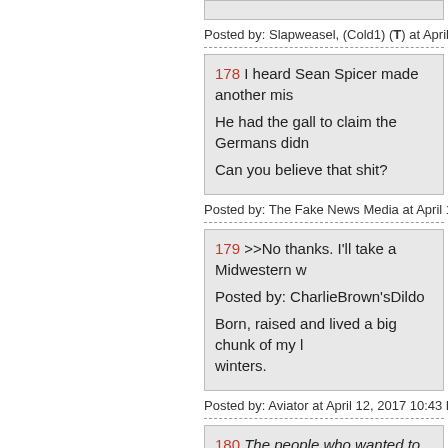Posted by: Slapweasel, (Cold1) (T) at April 12, 2
178 I heard Sean Spicer made another mis
He had the gall to claim the Germans didn
Can you believe that shit?
Posted by: The Fake News Media at April 12, 20
179 >>No thanks. I'll take a Midwestern w
Posted by: CharlieBrown'sDildo
Born, raised and lived a big chunk of my l winters.
Posted by: Aviator at April 12, 2017 10:43 PM (/
180 The people who wanted to lecture you very deliberately. For your own good.
They care so much about you that they h